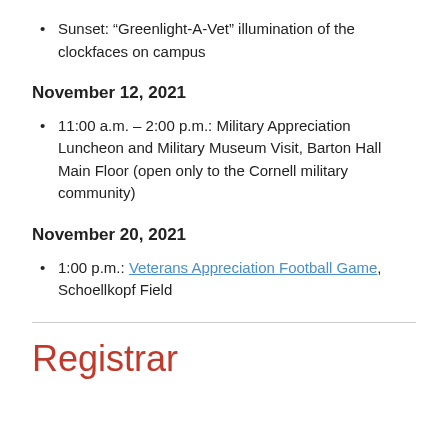Sunset: “Greenlight-A-Vet” illumination of the clockfaces on campus
November 12, 2021
11:00 a.m. – 2:00 p.m.: Military Appreciation Luncheon and Military Museum Visit, Barton Hall Main Floor (open only to the Cornell military community)
November 20, 2021
1:00 p.m.: Veterans Appreciation Football Game, Schoellkopf Field
Registrar